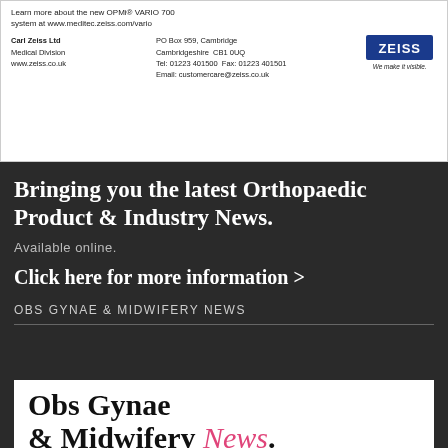[Figure (infographic): Carl Zeiss Ltd advertisement with contact details and Zeiss logo. Text: Learn more about the new OPMi VARIO 700 system at www.meditec.zeiss.com/vario. Carl Zeiss Ltd Medical Division, PO Box 959 Cambridge, Cambridgeshire CB1 0UQ, Tel: 01223 401500, Fax: 01223 401501, www.zeiss.co.uk, Email: customercare@zeiss.co.uk. Zeiss logo with 'We make it visible.' tagline.]
Bringing you the latest Orthopaedic Product & Industry News.
Available online.
Click here for more information >
OBS GYNAE & MIDWIFERY NEWS
[Figure (screenshot): Magazine cover preview: Obs Gynae & Midwifery News. July 2013, Issue 40. Sections: NEWS, PRODUCTS, REVIEWS, FEATURES.]